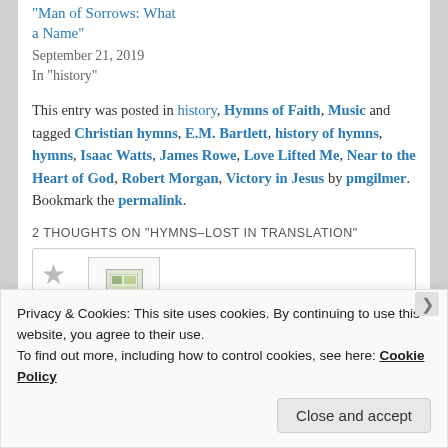"Man of Sorrows: What a Name"
September 21, 2019
In "history"
This entry was posted in history, Hymns of Faith, Music and tagged Christian hymns, E.M. Bartlett, history of hymns, hymns, Isaac Watts, James Rowe, Love Lifted Me, Near to the Heart of God, Robert Morgan, Victory in Jesus by pmgilmer. Bookmark the permalink.
2 THOUGHTS ON "HYMNS–LOST IN TRANSLATION"
[Figure (other): Comment avatar placeholder with star icon and image placeholder]
Privacy & Cookies: This site uses cookies. By continuing to use this website, you agree to their use.
To find out more, including how to control cookies, see here: Cookie Policy